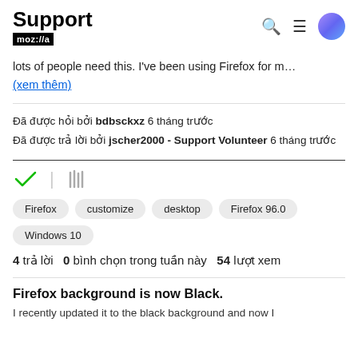Support mozilla//a
lots of people need this. I've been using Firefox for m…
(xem thêm)
Đã được hỏi bởi bdbsckxz 6 tháng trước
Đã được trả lời bởi jscher2000 - Support Volunteer 6 tháng trước
[Figure (illustration): Checkmark icon and bookmark/library icon]
Firefox  customize  desktop  Firefox 96.0  Windows 10
4 trả lời  0 bình chọn trong tuần này  54 lượt xem
Firefox background is now Black.
Lorem placeholder article snippet text